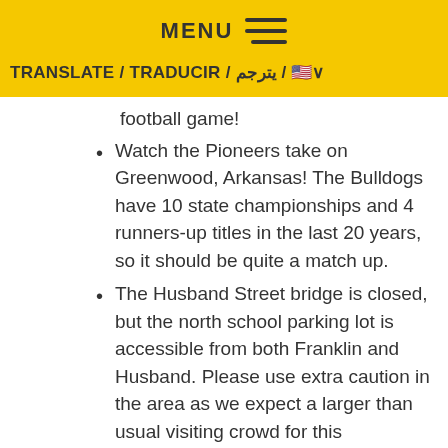MENU ≡
TRANSLATE / TRADUCIR / يترجم / 🌐 ∨
football game!
Watch the Pioneers take on Greenwood, Arkansas! The Bulldogs have 10 state championships and 4 runners-up titles in the last 20 years, so it should be quite a match up.
The Husband Street bridge is closed, but the north school parking lot is accessible from both Franklin and Husband. Please use extra caution in the area as we expect a larger than usual visiting crowd for this exceptional